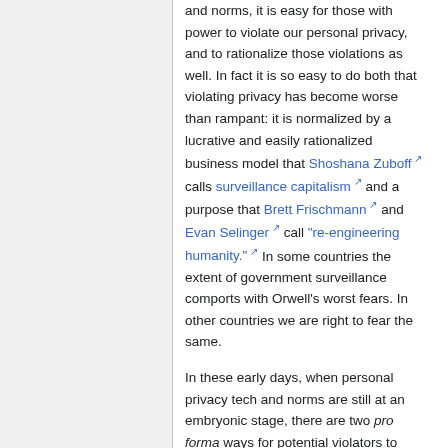and norms, it is easy for those with power to violate our personal privacy, and to rationalize those violations as well. In fact it is so easy to do both that violating privacy has become worse than rampant: it is normalized by a lucrative and easily rationalized business model that Shoshana Zuboff calls surveillance capitalism and a purpose that Brett Frischmann and Evan Selinger call "re-engineering humanity." In some countries the extent of government surveillance comports with Orwell's worst fears. In other countries we are right to fear the same.
In these early days, when personal privacy tech and norms are still at an embryonic stage, there are two pro forma ways for potential violators to